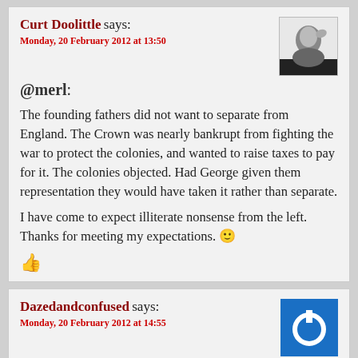Curt Doolittle says:
Monday, 20 February 2012 at 13:50
@merl:
The founding fathers did not want to separate from England. The Crown was nearly bankrupt from fighting the war to protect the colonies, and wanted to raise taxes to pay for it. The colonies objected. Had George given them representation they would have taken it rather than separate.
I have come to expect illiterate nonsense from the left. Thanks for meeting my expectations. 🙂
Dazedandconfused says:
Monday, 20 February 2012 at 14:55
Curt, I think you are missing the point, this is